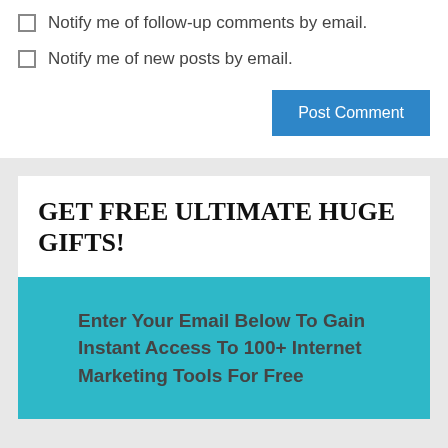Notify me of follow-up comments by email.
Notify me of new posts by email.
Post Comment
GET FREE ULTIMATE HUGE GIFTS!
Enter Your Email Below To Gain Instant Access To 100+ Internet Marketing Tools For Free